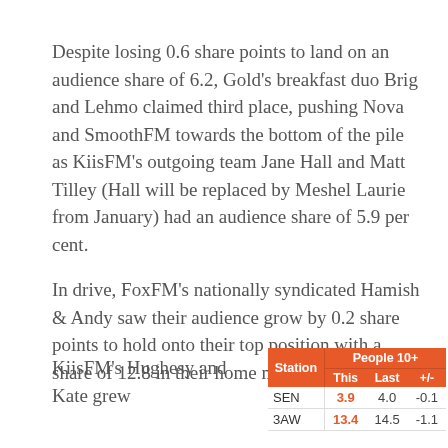Despite losing 0.6 share points to land on an audience share of 6.2, Gold's breakfast duo Brig and Lehmo claimed third place, pushing Nova and SmoothFM towards the bottom of the pile as KiisFM's outgoing team Jane Hall and Matt Tilley (Hall will be replaced by Meshel Laurie from January) had an audience share of 5.9 per cent.
In drive, FoxFM's nationally syndicated Hamish & Andy saw their audience grow by 0.2 share points to hold onto their top position with a share of 12.8 in their home market.
KiisFM's Hughesy and Kate grew
| Station | People 10+ This | People 10+ Last | People 10+ +/- |
| --- | --- | --- | --- |
| SEN | 3.9 | 4.0 | -0.1 |
| 3AW | 13.4 | 14.5 | -1.1 |